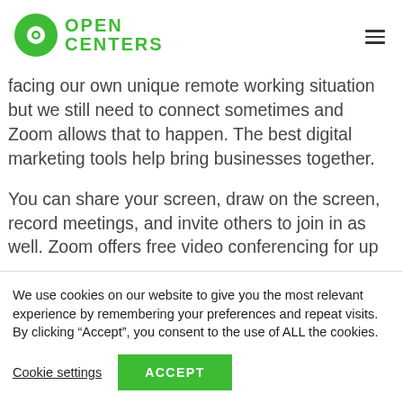OPEN CENTERS
facing our own unique remote working situation but we still need to connect sometimes and Zoom allows that to happen. The best digital marketing tools help bring businesses together.
You can share your screen, draw on the screen, record meetings, and invite others to join in as well. Zoom offers free video conferencing for up
We use cookies on our website to give you the most relevant experience by remembering your preferences and repeat visits. By clicking “Accept”, you consent to the use of ALL the cookies.
Cookie settings | ACCEPT